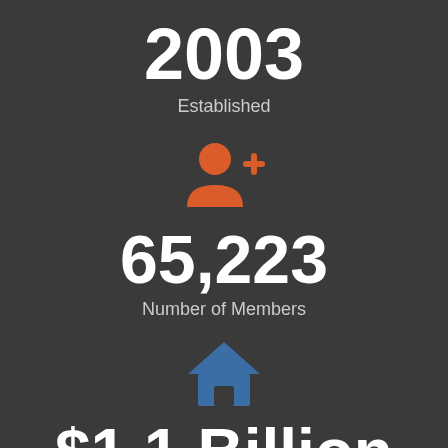2003
Established
[Figure (infographic): Orange person/user add icon (silhouette with plus sign)]
65,223
Number of Members
[Figure (infographic): Blue house/home icon]
$1.1 Billion